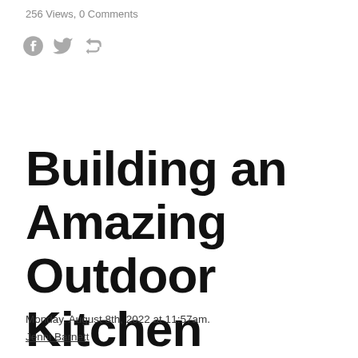256 Views, 0 Comments
[Figure (illustration): Social sharing icons: Facebook circle icon, Twitter bird icon, and a share/forward arrow icon, all in grey.]
Building an Amazing Outdoor Kitchen
Monday, August 8th, 2022 at 11:57am.
Jenni Barnett